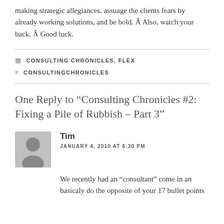making strategic allegiances, assuage the clients fears by already working solutions, and be bold. Â Also, watch your back. Â Good luck.
CONSULTING CHRONICLES, FLEX
CONSULTINGCHRONICLES
One Reply to “Consulting Chronicles #2: Fixing a Pile of Rubbish – Part 3”
Tim
JANUARY 4, 2010 AT 6:30 PM
We recently had an “consultant” come in an basicaly do the opposite of your 17 bullet points